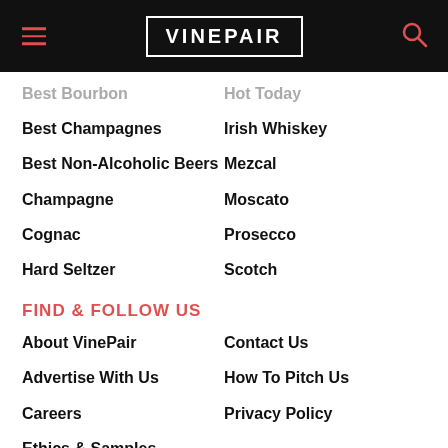VINEPAIR
Best Bourbon
Hot Today
Best Champagnes
Irish Whiskey
Best Non-Alcoholic Beers
Mezcal
Champagne
Moscato
Cognac
Prosecco
Hard Seltzer
Scotch
FIND & FOLLOW US
About VinePair
Contact Us
Advertise With Us
How To Pitch Us
Careers
Privacy Policy
Ethics & Samples